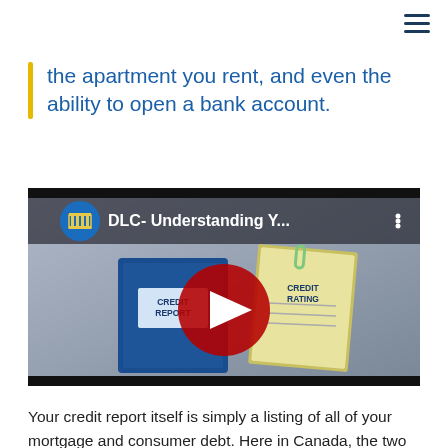the apartment you rent, and even the ability to open a bank account.
[Figure (screenshot): YouTube video thumbnail showing 'DLC- Understanding Y...' with credit report book and credit rating document, red play button overlay]
Your credit report itself is simply a listing of all of your mortgage and consumer debt. Here in Canada, the two main credit reporting agencies are Trans Union and Equifax. Both agencies have a credit history file on